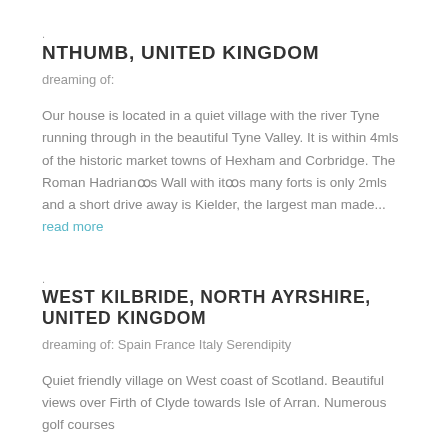.
NTHUMB, UNITED KINGDOM
dreaming of:
Our house is located in a quiet village with the river Tyne running through in the beautiful Tyne Valley. It is within 4mls of the historic market towns of Hexham and Corbridge. The Roman Hadrianꝏs Wall with itꝏs many forts is only 2mls and a short drive away is Kielder, the largest man made... read more
.
WEST KILBRIDE, NORTH AYRSHIRE, UNITED KINGDOM
dreaming of: Spain France Italy Serendipity
Quiet friendly village on West coast of Scotland. Beautiful views over Firth of Clyde towards Isle of Arran. Numerous golf courses